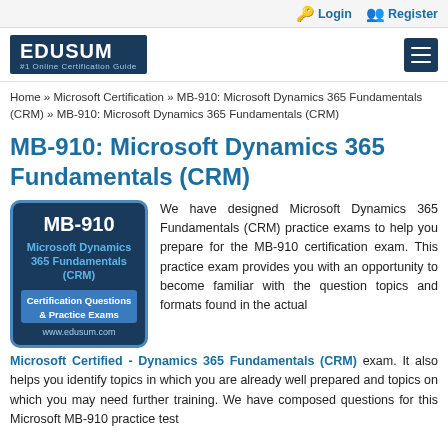Login   Register
[Figure (logo): EDUSUM #1 Online Certification Guide logo with dark blue background and hamburger menu icon]
Home » Microsoft Certification » MB-910: Microsoft Dynamics 365 Fundamentals (CRM) » MB-910: Microsoft Dynamics 365 Fundamentals (CRM)
MB-910: Microsoft Dynamics 365 Fundamentals (CRM)
[Figure (illustration): MB-910 Microsoft Dynamics 365 Fundamentals (CRM) certification badge with dark blue background showing exam code, exam name, Certification Questions & Practice Exams label, and www.edusum.com URL]
We have designed Microsoft Dynamics 365 Fundamentals (CRM) practice exams to help you prepare for the MB-910 certification exam. This practice exam provides you with an opportunity to become familiar with the question topics and formats found in the actual Microsoft Certified - Dynamics 365 Fundamentals (CRM) exam. It also helps you identify topics in which you are already well prepared and topics on which you may need further training. We have composed questions for this Microsoft MB-910 practice test